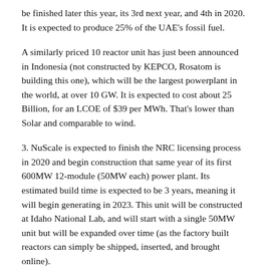be finished later this year, its 3rd next year, and 4th in 2020. It is expected to produce 25% of the UAE's fossil fuel.
A similarly priced 10 reactor unit has just been announced in Indonesia (not constructed by KEPCO, Rosatom is building this one), which will be the largest powerplant in the world, at over 10 GW. It is expected to cost about 25 Billion, for an LCOE of $39 per MWh. That's lower than Solar and comparable to wind.
3. NuScale is expected to finish the NRC licensing process in 2020 and begin construction that same year of its first 600MW 12-module (50MW each) power plant. Its estimated build time is expected to be 3 years, meaning it will begin generating in 2023. This unit will be constructed at Idaho National Lab, and will start with a single 50MW unit but will be expanded over time (as the factory built reactors can simply be shipped, inserted, and brought online).
That being said a NuScale SMR is expected to cost 2.85 Billion for the entire completed 600 MW plant. This is an